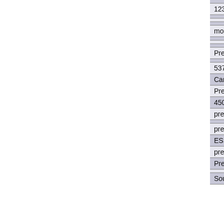|  |
| 1232 driver |
|  |
|  |
|  |
| model 5070 driver |
|  |
|  |
|  |
| Presario 5000 Mini Tower driver |
|  |
| 5373 driver |
| Camaro Graphics Drivers driver |
| Presario 1220 driver |
| 4506 driver |
| presario 7360 driver |
|  |
| presario 7478 driver |
| ESS Technology Maestro-2 driver |
| presario 5304 driver |
| Presario 700 driver |
|  |
| SoundMax driver |